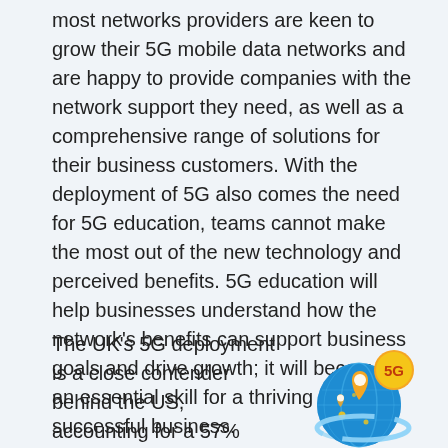most networks providers are keen to grow their 5G mobile data networks and are happy to provide companies with the network support they need, as well as a comprehensive range of solutions for their business customers. With the deployment of 5G also comes the need for 5G education, teams cannot make the most out of the new technology and perceived benefits. 5G education will help businesses understand how the network's benefits can support business goals and drive growth; it will become an essential skill for a thriving and successful business.
The UK's 5G deployment is a close contender behind the US, accounting for a 57% share of 5G connections, however, America is seeing a slower rollout across the country. This year is expected to see two-thirds of the country's population covered
[Figure (illustration): A circular 5G network globe icon in blue with golden/yellow location pins and a '5G' badge in orange/yellow at the top right, with a light blue orbital ring around it.]